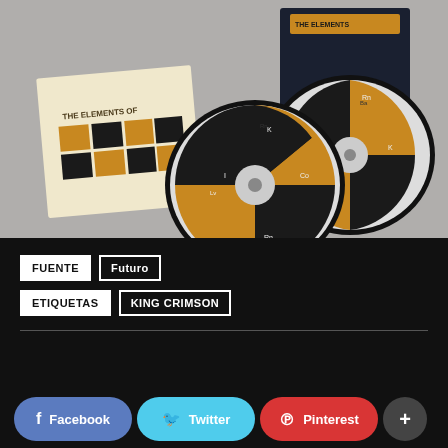[Figure (photo): Photo of The Elements of King Crimson CD box set showing booklet and two CDs with periodic table inspired design in gold and black]
FUENTE  Futuro
ETIQUETAS  KING CRIMSON
Facebook  Twitter  Pinterest  +